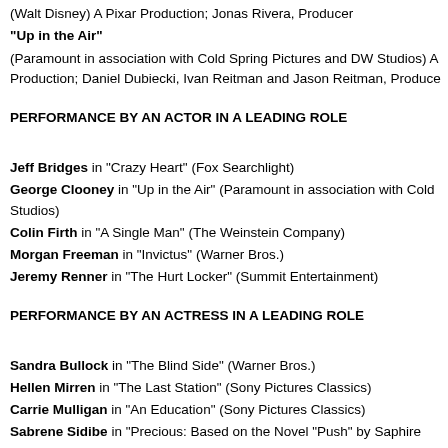(Walt Disney) A Pixar Production; Jonas Rivera, Producer
"Up in the Air"
(Paramount in association with Cold Spring Pictures and DW Studios) A Production; Daniel Dubiecki, Ivan Reitman and Jason Reitman, Producers
PERFORMANCE BY AN ACTOR IN A LEADING ROLE
Jeff Bridges in "Crazy Heart" (Fox Searchlight)
George Clooney in "Up in the Air" (Paramount in association with Cold Studios)
Colin Firth in "A Single Man" (The Weinstein Company)
Morgan Freeman in "Invictus" (Warner Bros.)
Jeremy Renner in "The Hurt Locker" (Summit Entertainment)
PERFORMANCE BY AN ACTRESS IN A LEADING ROLE
Sandra Bullock in "The Blind Side" (Warner Bros.)
Hellen Mirren in "The Last Station" (Sony Pictures Classics)
Carrie Mulligan in "An Education" (Sony Pictures Classics)